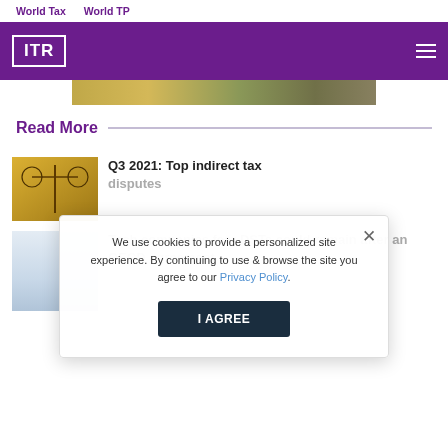World Tax    World TP
[Figure (logo): ITR logo in white on purple background with hamburger menu icon]
[Figure (photo): Partial hero image strip showing textured surface]
Read More
[Figure (photo): Thumbnail of scales of justice on golden background]
Q3 2021: Top indirect tax disputes
[Figure (photo): Thumbnail of blurred blue/white figure]
Tech companies fear DSTs could remain after an OECD agreement
We use cookies to provide a personalized site experience. By continuing to use & browse the site you agree to our Privacy Policy.